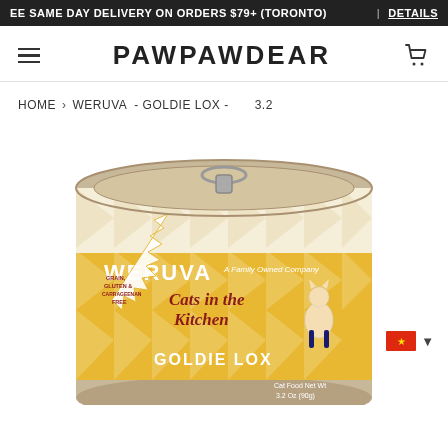EE SAME DAY DELIVERY ON ORDERS $79+ (TORONTO) | DETAILS
PAWPAWDEAR
HOME › WERUVA - GOLDIE LOX - 3.2
[Figure (photo): Weruva Cats in the Kitchen Goldie Lox cat food can, gold/cream label with diamond pattern, pull-tab lid visible at top]